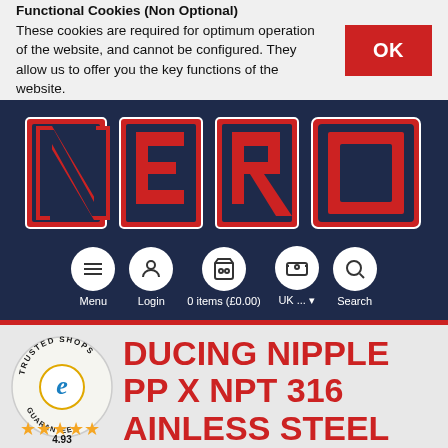Functional Cookies (Non Optional)
These cookies are required for optimum operation of the website, and cannot be configured. They allow us to offer you the key functions of the website.
[Figure (logo): NERO logo in red and dark blue block letters on dark navy background]
Menu  Login  0 items (£0.00)  UK ...  Search
[Figure (logo): Trusted Shops badge with gold stars and rating 4.93]
REDUCING NIPPLE NPP X NPT 316 STAINLESS STEEL